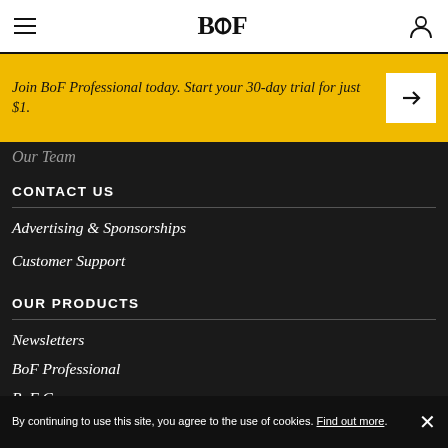BOF
Join BoF Professional today. Start your 30-day trial for just $1.
Our Team
CONTACT US
Advertising & Sponsorships
Customer Support
OUR PRODUCTS
Newsletters
BoF Professional
BoF Careers
BoF Insights
By continuing to use this site, you agree to the use of cookies. Find out more.